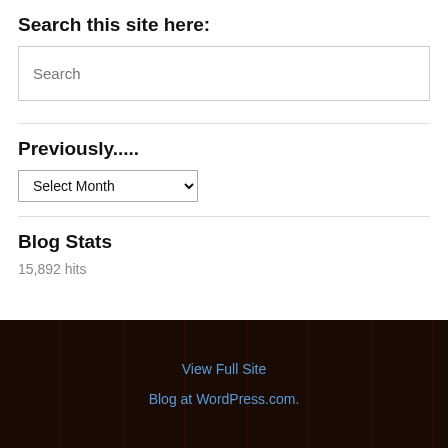Search this site here:
Search
Previously.....
Select Month
Blog Stats
15,892 hits
View Full Site
Blog at WordPress.com.